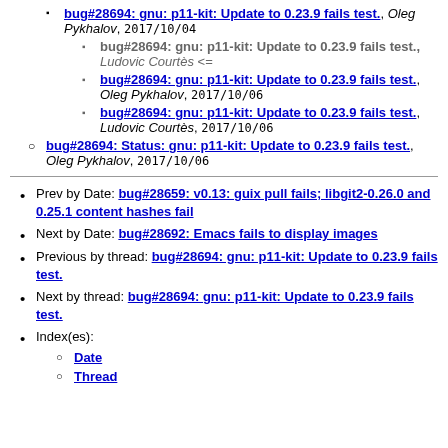bug#28694: gnu: p11-kit: Update to 0.23.9 fails test., Oleg Pykhalov, 2017/10/04
bug#28694: gnu: p11-kit: Update to 0.23.9 fails test., Ludovic Courtès <=
bug#28694: gnu: p11-kit: Update to 0.23.9 fails test., Oleg Pykhalov, 2017/10/06
bug#28694: gnu: p11-kit: Update to 0.23.9 fails test., Ludovic Courtès, 2017/10/06
bug#28694: Status: gnu: p11-kit: Update to 0.23.9 fails test., Oleg Pykhalov, 2017/10/06
Prev by Date: bug#28659: v0.13: guix pull fails; libgit2-0.26.0 and 0.25.1 content hashes fail
Next by Date: bug#28692: Emacs fails to display images
Previous by thread: bug#28694: gnu: p11-kit: Update to 0.23.9 fails test.
Next by thread: bug#28694: gnu: p11-kit: Update to 0.23.9 fails test.
Index(es):
Date
Thread